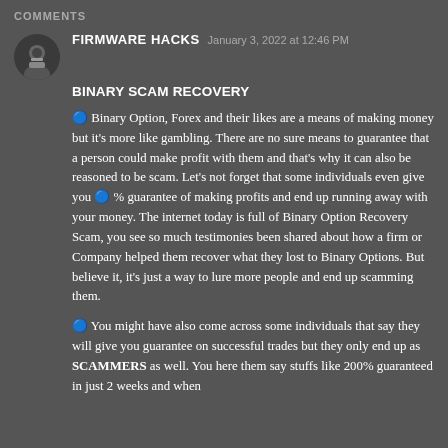COMMENTS
FIRMWARE HACKS   January 3, 2022 at 12:46 PM
BINARY SCAM RECOVERY
🔵 Binary Option, Forex and their likes are a means of making money but it's more like gambling. There are no sure means to guarantee that a person could make profit with them and that's why it can also be reasoned to be scam. Let's not forget that some individuals even give you 🔵 % guarantee of making profits and end up running away with your money. The internet today is full of Binary Option Recovery Scam, you see so much testimonies been shared about how a firm or Company helped them recover what they lost to Binary Options. But believe it, it's just a way to lure more people and end up scamming them.
🔵 You might have also come across some individuals that say they will give you guarantee on successful trades but they only end up as SCAMMERS as well. You here them say stuffs like 200% guaranteed in just 2 weeks and when